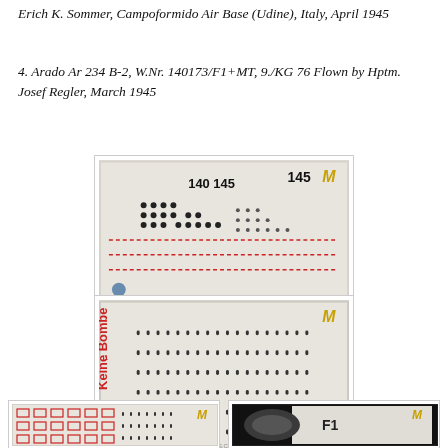Erich K. Sommer, Campoformido Air Base (Udine), Italy, April 1945
4. Arado Ar 234 B-2, W.Nr. 140173/F1+MT, 9./KG 76 Flown by Hptm. Josef Regler, March 1945
[Figure (photo): Close-up photo of model decal sheet showing numbered dots/bombs and markings including '140 145' text]
[Figure (photo): Close-up photo of model decal sheet showing red 'Keine Bombe' text and rows of circular rivets/stud patterns]
[Figure (photo): Photo of model decal sheet showing red rectangular frame patterns and rivet rows]
[Figure (photo): Photo of model decal sheet showing 'F1' marking and a dark rounded shape]